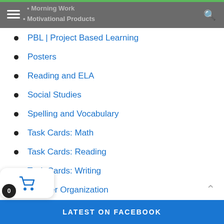Morning Work | Motivational Products
PBL | Project Based Learning
Posters
Reading and ELA
Social Studies
Spelling and Vocabulary
Task Cards: Math
Task Cards: Reading
Task Cards: Writing
Teacher Organization
LATEST ON FACEBOOK